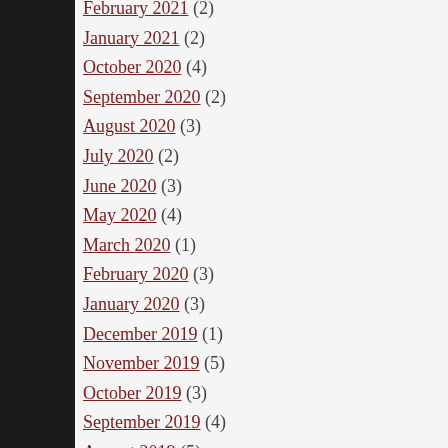February 2021 (2)
January 2020 (2)
October 2020 (4)
September 2020 (2)
August 2020 (3)
July 2020 (2)
June 2020 (3)
May 2020 (4)
March 2020 (1)
February 2020 (3)
January 2020 (3)
December 2019 (1)
November 2019 (5)
October 2019 (3)
September 2019 (4)
August 2019 (5)